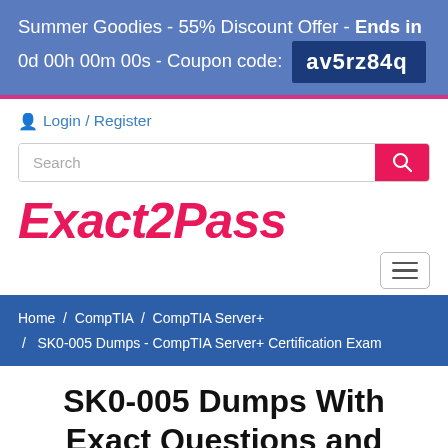Summer Goodies - 55% Discount Offer - Ends in 0d 00h 00m 00s - Coupon code: av5rz84q
Login / Register
[Figure (screenshot): Search bar with pink search button]
[Figure (logo): Exact2Pass logo in pink cursive/italic font]
[Figure (other): Hamburger menu button]
Home / CompTIA / CompTIA Server+ / SK0-005 Dumps - CompTIA Server+ Certification Exam
SK0-005 Dumps With Exact Questions and